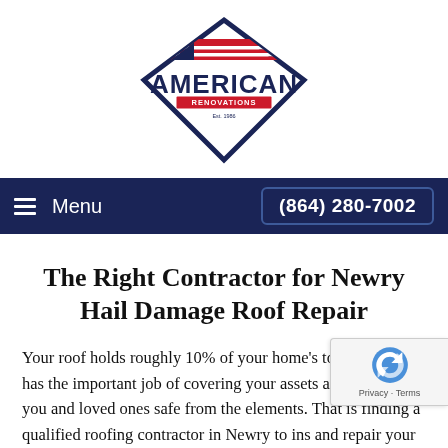[Figure (logo): American Renovations logo — diamond shape with navy outline, red and white stripes at top, stars, bold navy text 'AMERICAN' and red text 'RENOVATIONS', 'Est. 1986' below]
Menu   (864) 280-7002
The Right Contractor for Newry Hail Damage Roof Repair
Your roof holds roughly 10% of your home's total value. It has the important job of covering your assets and keeping you and loved ones safe from the elements. That is finding a qualified roofing contractor in Newry to ins and repair your roof after a hail storm in Newry is so